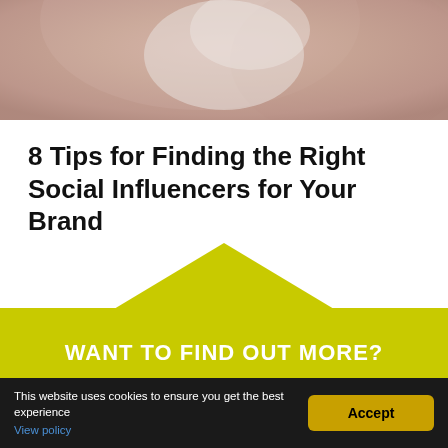[Figure (photo): Close-up photo of a person, blurred/cropped, showing skin tones in pink and taupe colors at the top of the page]
8 Tips for Finding the Right Social Influencers for Your Brand
[Figure (illustration): Yellow/lime arrow/chevron shape pointing upward, transitioning into a yellow background section]
WANT TO FIND OUT MORE?
This website uses cookies to ensure you get the best experience
View policy
Accept